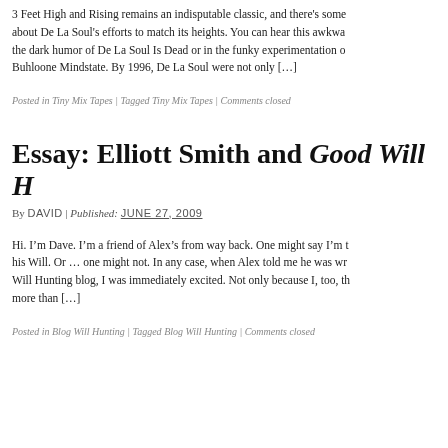3 Feet High and Rising remains an indisputable classic, and there's some about De La Soul's efforts to match its heights. You can hear this awkwa the dark humor of De La Soul Is Dead or in the funky experimentation o Buhloone Mindstate. By 1996, De La Soul were not only […]
Posted in Tiny Mix Tapes | Tagged Tiny Mix Tapes | Comments closed
Essay: Elliott Smith and Good Will H
By DAVID | Published: JUNE 27, 2009
Hi. I'm Dave. I'm a friend of Alex's from way back. One might say I'm t his Will. Or … one might not. In any case, when Alex told me he was wr Will Hunting blog, I was immediately excited. Not only because I, too, th more than […]
Posted in Blog Will Hunting | Tagged Blog Will Hunting | Comments closed